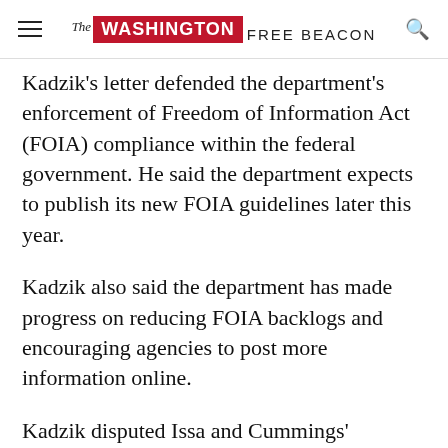The Washington Free Beacon
Kadzik's letter defended the department's enforcement of Freedom of Information Act (FOIA) compliance within the federal government. He said the department expects to publish its new FOIA guidelines later this year.
Kadzik also said the department has made progress on reducing FOIA backlogs and encouraging agencies to post more information online.
Kadzik disputed Issa and Cummings' assertion that outdated FOIA regulations were a significant problem.
“We do not have reason to believe that